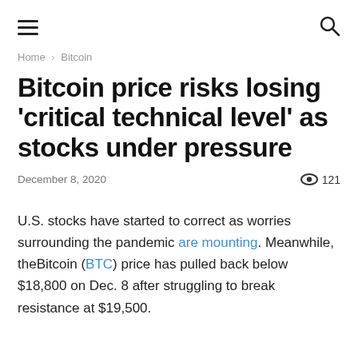≡  🔍
Home › Bitcoin
Bitcoin price risks losing 'critical technical level' as stocks under pressure
December 8, 2020  👁 121
U.S. stocks have started to correct as worries surrounding the pandemic are mounting. Meanwhile, theBitcoin (BTC) price has pulled back below $18,800 on Dec. 8 after struggling to break resistance at $19,500.